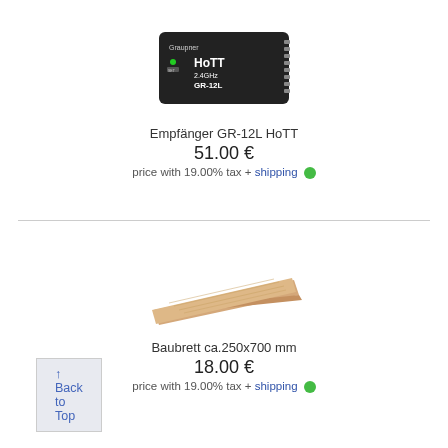[Figure (photo): Photo of Graupner GR-12L HoTT 2.4GHz RC receiver, a small black rectangular electronic device]
Empfänger GR-12L HoTT
51.00 €
price with 19.00% tax + shipping ●
[Figure (photo): Photo of a flat rectangular wooden building board (Baubrett), approximately 250x700mm, light wood color]
Baubrett ca.250x700 mm
18.00 €
price with 19.00% tax + shipping ●
↑ Back to Top